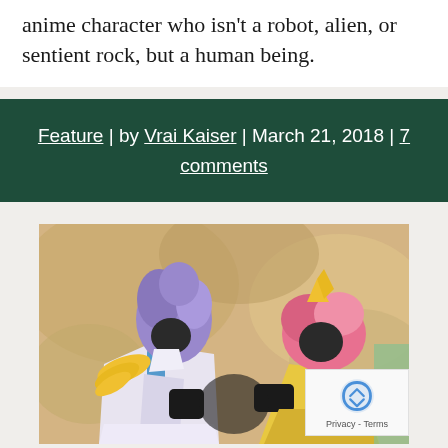anime character who isn't a robot, alien, or sentient rock, but a human being.
Feature | by Vrai Kaiser | March 21, 2018 | 7 comments
[Figure (illustration): Anime illustration showing two characters — one with purple hair wearing a white outfit with yellow feather epaulettes and a blue scarf, and another with pink hair wearing a yellow outfit — facing each other against a sandy/rocky background.]